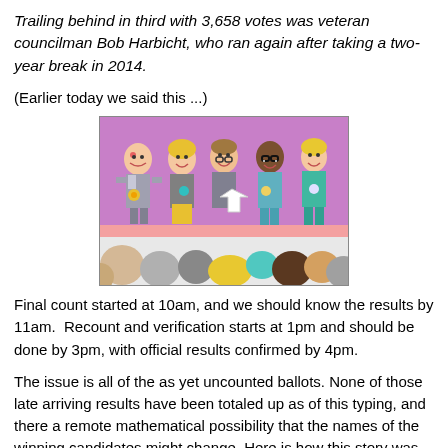Trailing behind in third with 3,658 votes was veteran councilman Bob Harbicht, who ran again after taking a two-year break in 2014.
(Earlier today we said this ...)
[Figure (illustration): Cartoon illustration of five smiling candidates standing on a stage with a pink/purple background, with an audience of colorful cartoon heads in the foreground. One figure holds a pointing arrow.]
Final count started at 10am, and we should know the results by 11am.  Recount and verification starts at 1pm and should be done by 3pm, with official results confirmed by 4pm.
The issue is all of the as yet uncounted ballots. None of those late arriving results have been totaled up as of this typing, and there a remote mathematical possibility that the names of the winning candidates might change. Here is how this story was broken down in the Pasadena Star